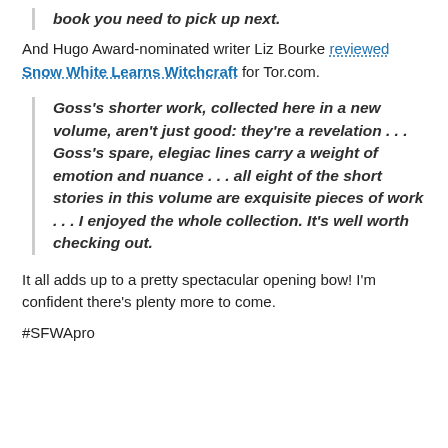book you need to pick up next.
And Hugo Award-nominated writer Liz Bourke reviewed Snow White Learns Witchcraft for Tor.com.
Goss's shorter work, collected here in a new volume, aren't just good: they're a revelation . . . Goss's spare, elegiac lines carry a weight of emotion and nuance . . . all eight of the short stories in this volume are exquisite pieces of work . . . I enjoyed the whole collection. It's well worth checking out.
It all adds up to a pretty spectacular opening bow! I'm confident there's plenty more to come.
#SFWApro